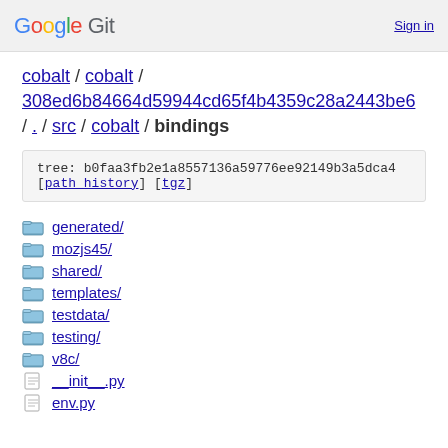Google Git  Sign in
cobalt / cobalt / 308ed6b84664d59944cd65f4b4359c28a2443be6 / . / src / cobalt / bindings
tree: b0faa3fb2e1a8557136a59776ee92149b3a5dca4 [path history] [tgz]
generated/
mozjs45/
shared/
templates/
testdata/
testing/
v8c/
__init__.py
env.py